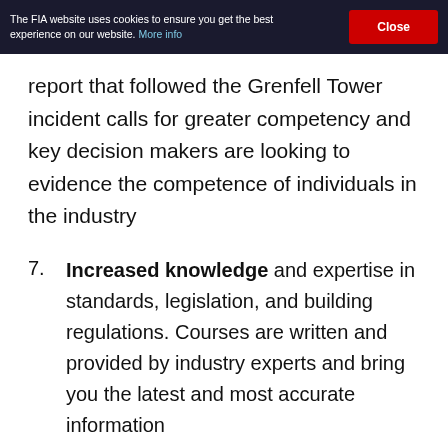The FIA website uses cookies to ensure you get the best experience on our website. More info | Close
report that followed the Grenfell Tower incident calls for greater competency and key decision makers are looking to evidence the competence of individuals in the industry
7. Increased knowledge and expertise in standards, legislation, and building regulations. Courses are written and provided by industry experts and bring you the latest and most accurate information
8. Thorough knowledge of BS 5839, the technologies